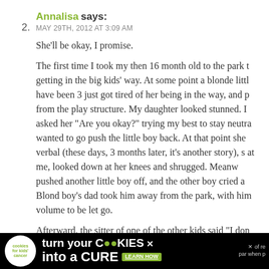2. Annalisa says:
MAY 29TH, 2012 AT 3:09 AM

She'll be okay, I promise.

The first time I took my then 16 month old to the park t... getting in the big kids' way. At some point a blonde litt... have been 3 just got tired of her being in the way, and p... from the play structure. My daughter looked stunned. I... asked her “Are you okay?” trying my best to stay neutra... wanted to go push the little boy back. At that point she... verbal (these days, 3 months later, it’s another story), s... at me, looked down at her knees and shrugged. Meanw... pushed another little boy off, and the other boy cried a... Blond boy’s dad took him away from the park, with him... volume to be let go.

Afterward, the sitter of one of the other kids said “I don... could stay so calm. I would have been screaming at tha... and his dad immediately.” I quickly replied that life isn’t...
[Figure (other): Advertisement banner: Cookies for Kids Cancer - turn your COOKIES into a CURE LEARN HOW]